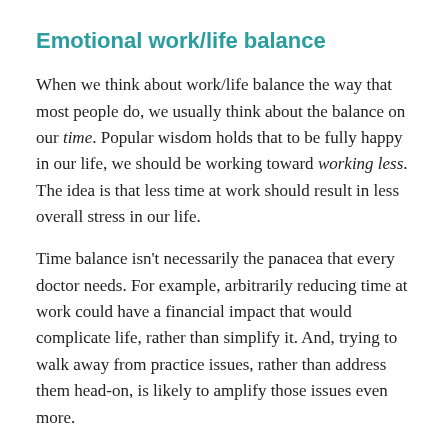Emotional work/life balance
When we think about work/life balance the way that most people do, we usually think about the balance on our time. Popular wisdom holds that to be fully happy in our life, we should be working toward working less. The idea is that less time at work should result in less overall stress in our life.
Time balance isn't necessarily the panacea that every doctor needs. For example, arbitrarily reducing time at work could have a financial impact that would complicate life, rather than simplify it. And, trying to walk away from practice issues, rather than address them head-on, is likely to amplify those issues even more.
For most doctors, work is a necessity and therefore, even if you can't alter your time balance right now, you can take steps to improve your emotional work/life balance. Emotional balance means that you're not carrying around